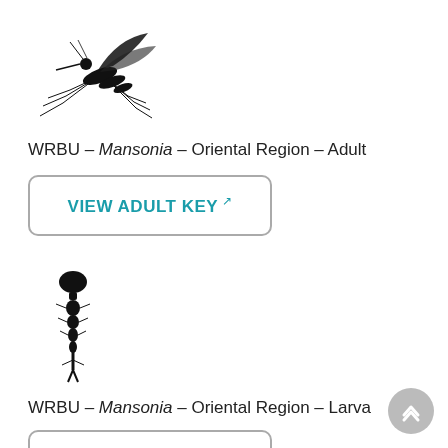[Figure (illustration): Black silhouette illustration of a mosquito adult, viewed from the side with wings spread and legs visible]
WRBU – Mansonia – Oriental Region – Adult
VIEW ADULT KEY (external link)
[Figure (illustration): Black silhouette illustration of a mosquito larva, elongated vertical body with head at top]
WRBU – Mansonia – Oriental Region – Larva
VIEW LARVAL KEY (external link)